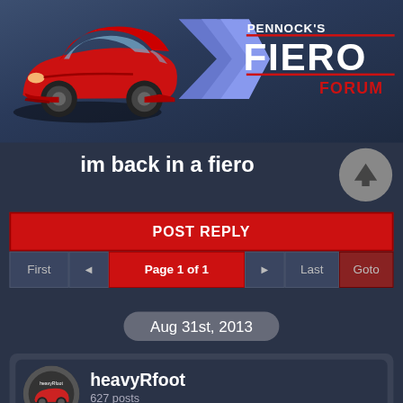[Figure (logo): Pennock's Fiero Forum banner with red Pontiac Fiero GT car on left and Fiero Forum logo on right with blue chevron/funnel shape]
im back in a fiero
POST REPLY
First  ◄  Page 1 of 1  ►  Last  Goto
Aug 31st, 2013
heavyRfoot
627 posts
Member since May 2007
Well after mty lose in 09 i always wanted another fiero just havent been able to get one. Well i just picked up an 87gt today after i drove for 6.5 hours. Most of you know winger1955 was selling his beautifull 87 well after